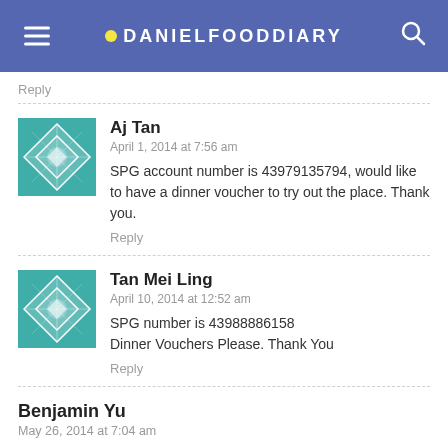DANIELFOODDIARY
Reply
Aj Tan
April 1, 2014 at 7:56 am
SPG account number is 43979135794, would like to have a dinner voucher to try out the place. Thank you.
Reply
Tan Mei Ling
April 10, 2014 at 12:52 am
SPG number is 43988886158
Dinner Vouchers Please. Thank You
Reply
Benjamin Yu
May 26, 2014 at 7:04 am